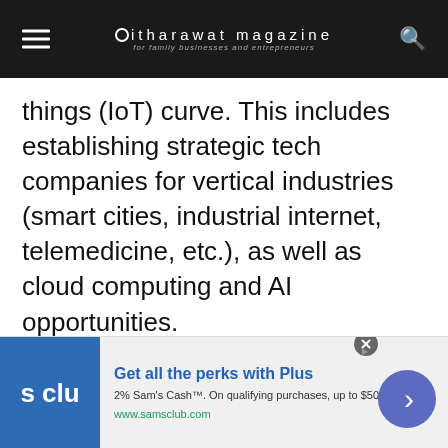itharawat magazine — for family businesses and entrepreneurs
things (IoT) curve. This includes establishing strategic tech companies for vertical industries (smart cities, industrial internet, telemedicine, etc.), as well as cloud computing and AI opportunities.
8. América Móvil